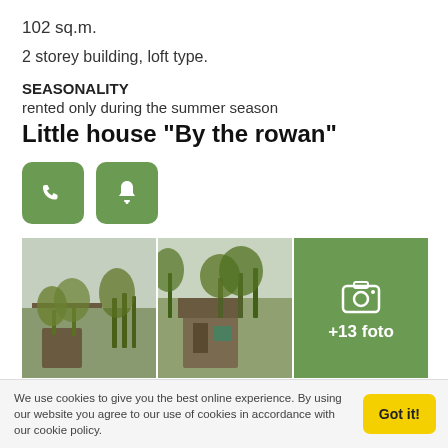102 sq.m.
2 storey building, loft type.
SEASONALITY
rented only during the summer season
Little house "By the rowan"
[Figure (other): Phone call button (green rounded square with phone icon)]
[Figure (other): Notification bell button (green rounded square with bell icon)]
[Figure (photo): Exterior photo of a small cottage/house with trees and lawn]
[Figure (photo): Exterior photo of a small cottage/house with trees]
[Figure (other): Green tile with camera icon and +13 foto text]
The renovated but authentic cottage "By the rowan" is comfortable for 3 guests. The private cottage has a terrace with a Japanese
We use cookies to give you the best online experience. By using our website you agree to our use of cookies in accordance with our cookie policy.